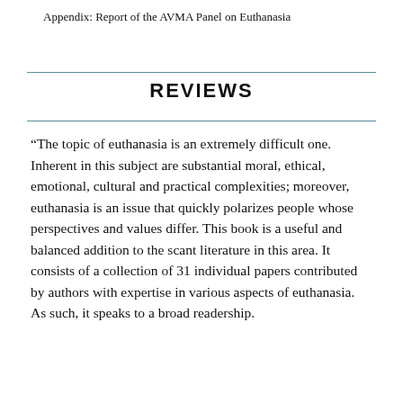Appendix: Report of the AVMA Panel on Euthanasia
REVIEWS
“The topic of euthanasia is an extremely difficult one. Inherent in this subject are substantial moral, ethical, emotional, cultural and practical complexities; moreover, euthanasia is an issue that quickly polarizes people whose perspectives and values differ. This book is a useful and balanced addition to the scant literature in this area. It consists of a collection of 31 individual papers contributed by authors with expertise in various aspects of euthanasia. As such, it speaks to a broad readership.